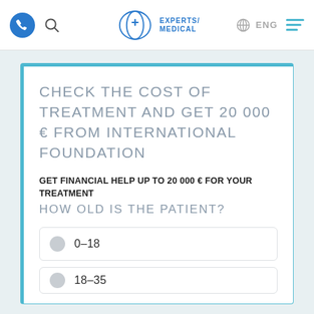Experts/Medical — ENG
CHECK THE COST OF TREATMENT AND GET 20 000 € FROM INTERNATIONAL FOUNDATION
GET FINANCIAL HELP UP TO 20 000 € FOR YOUR TREATMENT
HOW OLD IS THE PATIENT?
0–18
18–35